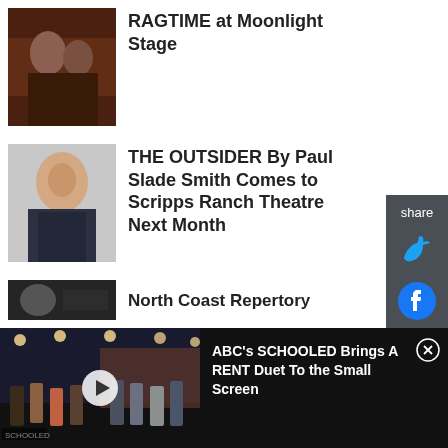[Figure (photo): Theater cast photo for RAGTIME at Moonlight Stage]
RAGTIME at Moonlight Stage
[Figure (photo): Headshot of actor for THE OUTSIDER by Paul Slade Smith at Scripps Ranch Theatre]
THE OUTSIDER By Paul Slade Smith Comes to Scripps Ranch Theatre Next Month
[Figure (photo): Small thumbnail image for North Coast Repertory article]
North Coast Repertory
[Figure (screenshot): Video player thumbnail showing ABC's SCHOOLED TV show with students on a stage set]
ABC's SCHOOLED Brings A RENT Duet To the Small Screen